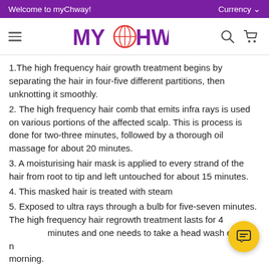Welcome to myChway! | Currency
[Figure (logo): myChway logo with globe icon replacing the O]
1.The high frequency hair growth treatment begins by separating the hair in four-five different partitions, then unknotting it smoothly.
2. The high frequency hair comb that emits infra rays is used on various portions of the affected scalp. This is process is done for two-three minutes, followed by a thorough oil massage for about 20 minutes.
3. A moisturising hair mask is applied to every strand of the hair from root to tip and left untouched for about 15 minutes.
4. This masked hair is treated with steam
5. Exposed to ultra rays through a bulb for five-seven minutes. The high frequency hair regrowth treatment lasts for 4 minutes and one needs to take a head wash only the next morning.